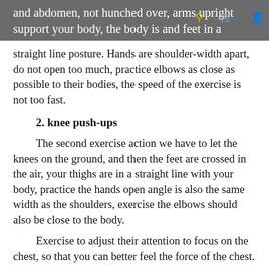and abdomen, not hunched over, arms upright support your body, the body is and feet in a straight line posture. Hands are shoulder-width apart, do not open too much, practice elbows as close as possible to their bodies, the speed of the exercise is not too fast.
2. knee push-ups
The second exercise action we have to let the knees on the ground, and then the feet are crossed in the air, your thighs are in a straight line with your body, practice the hands open angle is also the same width as the shoulders, exercise the elbows should also be close to the body.
Exercise to adjust their attention to focus on the chest, so that you can better feel the force of the chest.
3. wide distance push-ups